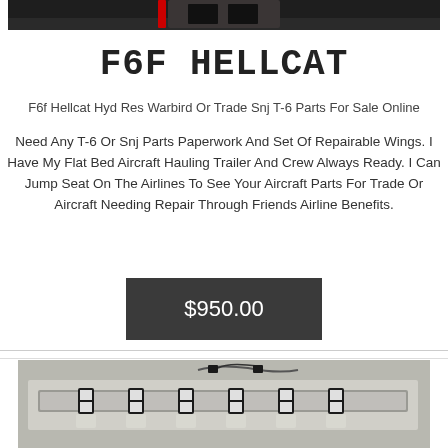[Figure (photo): Top portion of a dark photo, appears to show aircraft or cockpit area]
F6F HELLCAT
F6f Hellcat Hyd Res Warbird Or Trade Snj T-6 Parts For Sale Online
Need Any T-6 Or Snj Parts Paperwork And Set Of Repairable Wings. I Have My Flat Bed Aircraft Hauling Trailer And Crew Always Ready. I Can Jump Seat On The Airlines To See Your Aircraft Parts For Trade Or Aircraft Needing Repair Through Friends Airline Benefits.
$950.00
[Figure (photo): Photo of aircraft hydraulic reservoir or similar aircraft part component with wiring, black and white parts visible]